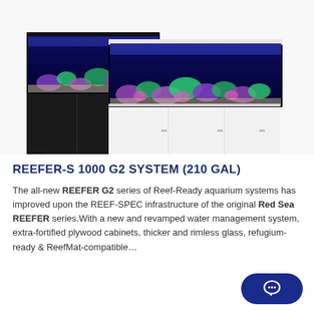[Figure (photo): Two reef aquarium systems (REEFER-S 1000 G2) — one black on the left and one white on the right — with colorful coral reef displays lit by blue/purple LED lighting. The aquariums sit on matching cabinet stands.]
REEFER-S 1000 G2 SYSTEM (210 GAL)
The all-new REEFER G2 series of Reef-Ready aquarium systems has improved upon the REEF-SPEC infrastructure of the original Red Sea REEFER series.With a new and revamped water management system, extra-fortified plywood cabinets, thicker and rimless glass, refugium-ready & ReefMat-compatible…